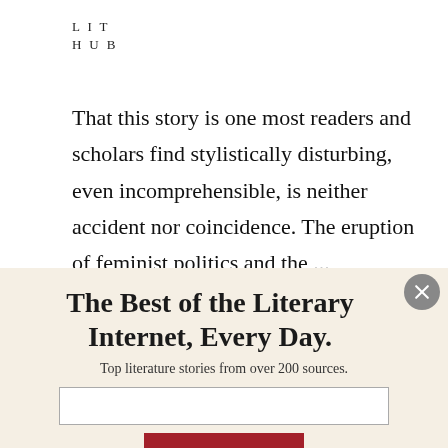LIT HUB
That this story is one most readers and scholars find stylistically disturbing, even incomprehensible, is neither accident nor coincidence. The eruption of feminist politics and the
The Best of the Literary Internet, Every Day.
Top literature stories from over 200 sources.
SUBSCRIBE